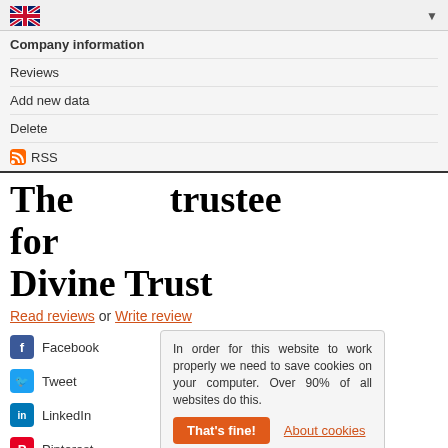UK flag language selector with dropdown
Company information
Reviews
Add new data
Delete
RSS
The trustee for Divine Trust
Read reviews or Write review
Facebook
Tweet
LinkedIn
Pinterest
Email
In order for this website to work properly we need to save cookies on your computer. Over 90% of all websites do this.
That's fine!
About cookies